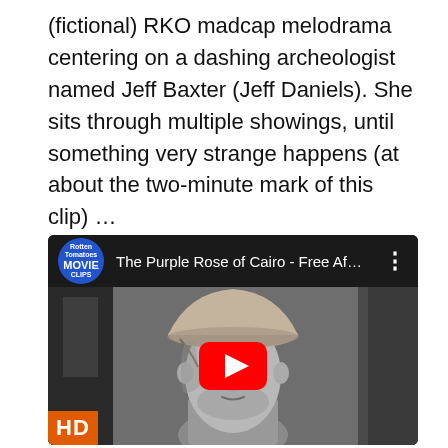(fictional) RKO madcap melodrama centering on a dashing archeologist named Jeff Baxter (Jeff Daniels). She sits through multiple showings, until something very strange happens (at about the two-minute mark of this clip) …
[Figure (screenshot): Embedded YouTube video player showing a clip titled 'The Purple Rose of Cairo - Free Af...' with a black and white film still of a man wearing a pith helmet. A red YouTube play button is centered on the image. The video is from the Rotten Tomatoes Movie Clips channel (blue circle logo). An orange/red HD badge appears at the bottom left.]